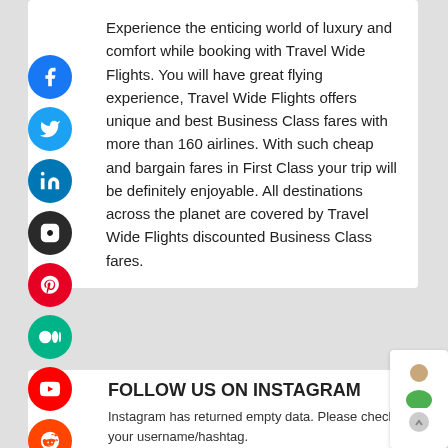Experience the enticing world of luxury and comfort while booking with Travel Wide Flights. You will have great flying experience, Travel Wide Flights offers unique and best Business Class fares with more than 160 airlines. With such cheap and bargain fares in First Class your trip will be definitely enjoyable. All destinations across the planet are covered by Travel Wide Flights discounted Business Class fares.
[Figure (infographic): Column of social media icons: Facebook, Twitter, LinkedIn, Instagram, Pinterest, Medium, YouTube, Reddit, Tumblr, Digg]
FOLLOW US ON INSTAGRAM
Instagram has returned empty data. Please check your username/hashtag.